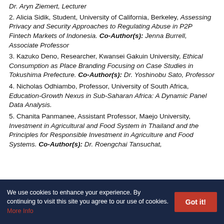Dr. Aryn Ziemert, Lecturer
2. Alicia Sidik, Student, University of California, Berkeley, Assessing Privacy and Security Approaches to Regulating Abuse in P2P Fintech Markets of Indonesia. Co-Author(s): Jenna Burrell, Associate Professor
3. Kazuko Deno, Researcher, Kwansei Gakuin University, Ethical Consumption as Place Branding Focusing on Case Studies in Tokushima Prefecture. Co-Author(s): Dr. Yoshinobu Sato, Professor
4. Nicholas Odhiambo, Professor, University of South Africa, Education-Growth Nexus in Sub-Saharan Africa: A Dynamic Panel Data Analysis.
5. Chanita Panmanee, Assistant Professor, Maejo University, Investment in Agricultural and Food System in Thailand and the Principles for Responsible Investment in Agriculture and Food Systems. Co-Author(s): Dr. Roengchai Tansuchat,
We use cookies to enhance your experience. By continuing to visit this site you agree to our use of cookies. More info